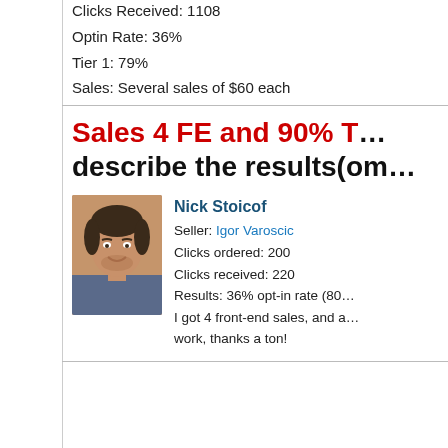Clicks Received: 1108
Optin Rate: 36%
Tier 1: 79%
Sales: Several sales of $60 each
Sales 4 FE and 90% T... describe the results(om...
Nick Stoicof
Seller: Igor Varoscic
Clicks ordered: 200
Clicks received: 220
Results: 36% opt-in rate (80...
I got 4 front-end sales, and a...
work, thanks a ton!